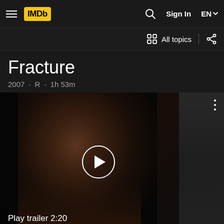IMDb — Sign In — EN
All topics
Fracture
2007 · R · 1h 53m
[Figure (screenshot): Movie trailer thumbnail showing a man in a dark scene with a play button overlay. Text reads: Play trailer 2:20]
Play trailer 2:20